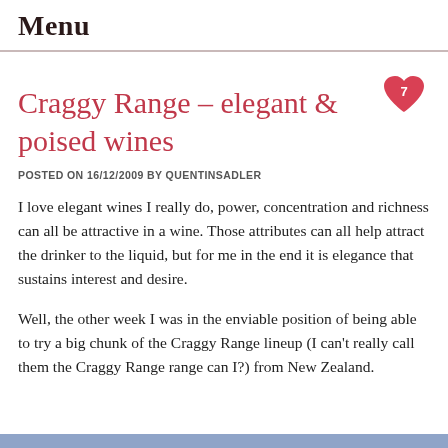Menu
Craggy Range – elegant & poised wines
POSTED ON 16/12/2009 BY QUENTINSADLER
I love elegant wines I really do, power, concentration and richness can all be attractive in a wine. Those attributes can all help attract the drinker to the liquid, but for me in the end it is elegance that sustains interest and desire.
Well, the other week I was in the enviable position of being able to try a big chunk of the Craggy Range lineup (I can't really call them the Craggy Range range can I?) from New Zealand.